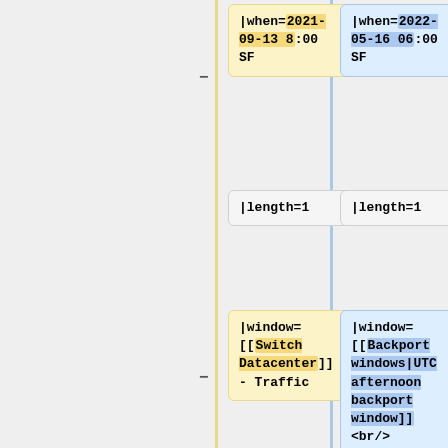|when=2021-09-13 8:00 SF
|when=2022-05-16 06:00 SF
|length=1
|length=1
|window=[[Switch Datacenter]] - Traffic
|window=[[Backport windows|UTC afternoon backport window]]<br/><small>'''Your patch may or may not be deployed at the sole discretion